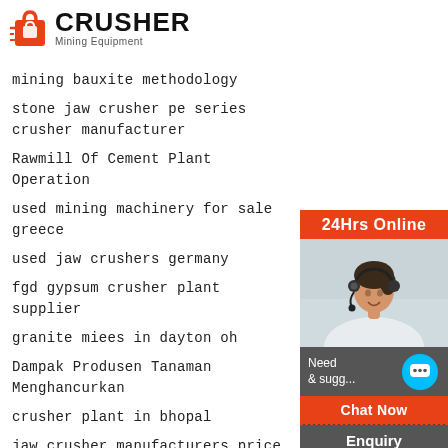[Figure (logo): Crusher Mining Equipment logo with red shopping bag icon and bold CRUSHER text]
mining bauxite methodology
stone jaw crusher pe series crusher manufacturer
Rawmill Of Cement Plant Operation
used mining machinery for sale greece
used jaw crushers germany
fgd gypsum crusher plant supplier
granite miees in dayton oh
Dampak Produsen Tanaman Menghancurkan
crusher plant in bhopal
jaw crusher manufacturers price
montana mining claim for sale prices
[Figure (infographic): 24Hrs Online sidebar panel with photo of woman with headset, Need & suggestions text, chat bubble icon, Chat Now button, Enquiry link, and limingjlmofen@sina.com email]